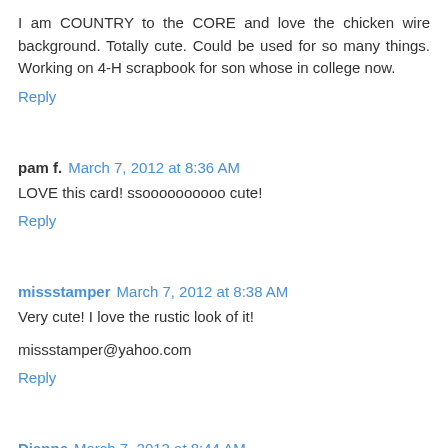I am COUNTRY to the CORE and love the chicken wire background. Totally cute. Could be used for so many things. Working on 4-H scrapbook for son whose in college now.
Reply
pam f. March 7, 2012 at 8:36 AM
LOVE this card! ssoooooooooo cute!
Reply
missstamper March 7, 2012 at 8:38 AM
Very cute! I love the rustic look of it!
missstamper@yahoo.com
Reply
Dianne March 7, 2012 at 8:44 AM